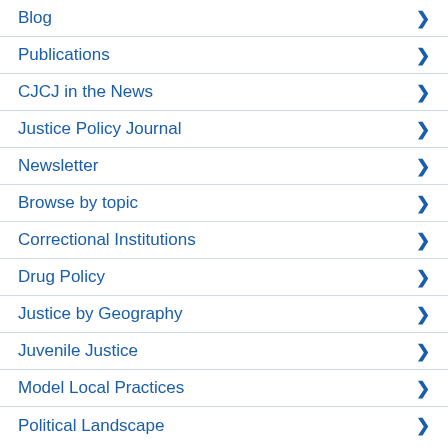Blog
Publications
CJCJ in the News
Justice Policy Journal
Newsletter
Browse by topic
Correctional Institutions
Drug Policy
Justice by Geography
Juvenile Justice
Model Local Practices
Political Landscape